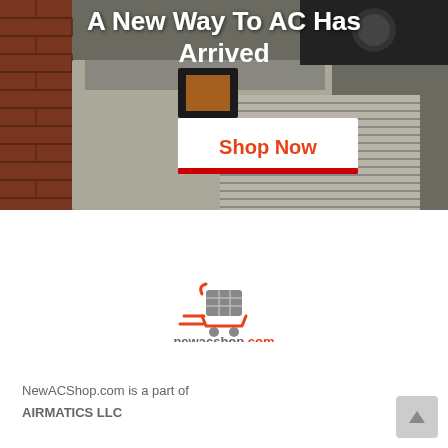[Figure (photo): Hero image showing AC/HVAC units against a brick wall background with a 'Shop Now' call-to-action button overlay. Title text reads 'A New Way To AC Has Arrived' in white bold font.]
A New Way To AC Has Arrived
Shop Now
[Figure (logo): NewACShop.com logo with a shopping cart icon and the text 'newacshop.com' where '.com' is in orange/red color.]
NewACShop.com is a part of
AIRMATICS LLC